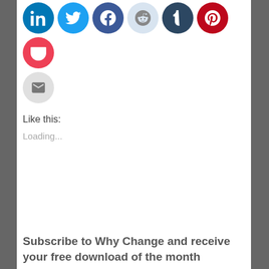[Figure (other): Row of social media share icon circles: LinkedIn (blue), Twitter (light blue), Facebook (dark blue), Reddit (light blue/gray), Tumblr (dark navy), Pinterest (red), Pocket (red/pink), and Email (gray) buttons]
Like this:
Loading...
Subscribe to Why Change and receive your free download of the month
First Name